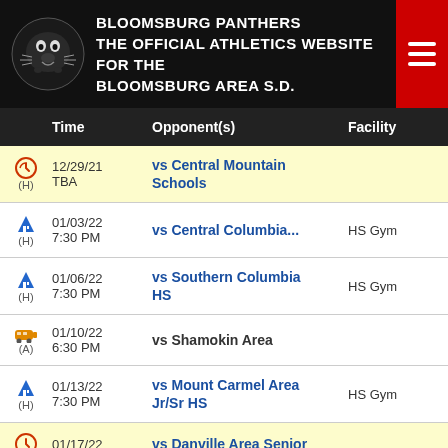BLOOMSBURG PANTHERS THE OFFICIAL ATHLETICS WEBSITE FOR THE BLOOMSBURG AREA S.D.
| Time | Opponent(s) | Facility |
| --- | --- | --- |
| 12/29/21 TBA (H) | vs Central Mountain Schools |  |
| 01/03/22 7:30 PM (H) | vs Central Columbia... | HS Gym |
| 01/06/22 7:30 PM (H) | vs Southern Columbia HS | HS Gym |
| 01/10/22 6:30 PM (A) | vs Shamokin Area |  |
| 01/13/22 7:30 PM (H) | vs Mount Carmel Area Jr/Sr HS | HS Gym |
| 01/17/22 (H) | vs Danville Area Senior |  |